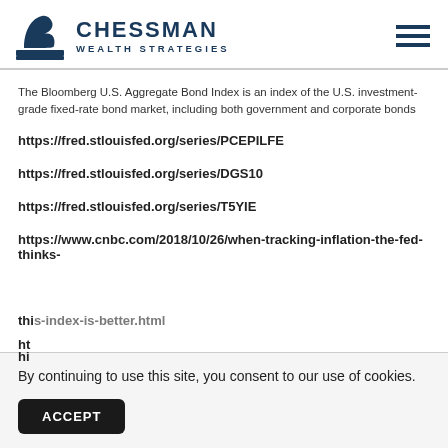[Figure (logo): Chessman Wealth Strategies logo with chess knight icon and company name]
The Bloomberg U.S. Aggregate Bond Index is an index of the U.S. investment-grade fixed-rate bond market, including both government and corporate bonds
https://fred.stlouisfed.org/series/PCEPILFE
https://fred.stlouisfed.org/series/DGS10
https://fred.stlouisfed.org/series/T5YIE
https://www.cnbc.com/2018/10/26/when-tracking-inflation-the-fed-thinks-this-index-is-better.html
By continuing to use this site, you consent to our use of cookies.